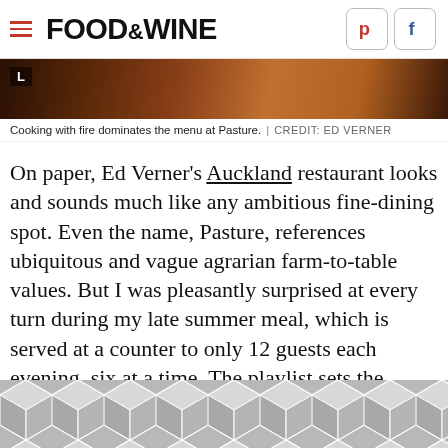FOOD & WINE
[Figure (photo): Dark warm-toned restaurant/fire cooking image with letter L overlay in top left corner]
Cooking with fire dominates the menu at Pasture. | CREDIT: ED VERNER
On paper, Ed Verner's Auckland restaurant looks and sounds much like any ambitious fine-dining spot. Even the name, Pasture, references ubiquitous and vague agrarian farm-to-table values. But I was pleasantly surprised at every turn during my late summer meal, which is served at a counter to only 12 guests each evening, six at a time. The playlist sets the mood, veering from Indeep's "Last Night a DJ Saved My Life" to The Cure's "Lullaby" without a hint
[Figure (illustration): Geometric hexagon tile pattern in grey tones overlaying the bottom of the article text]